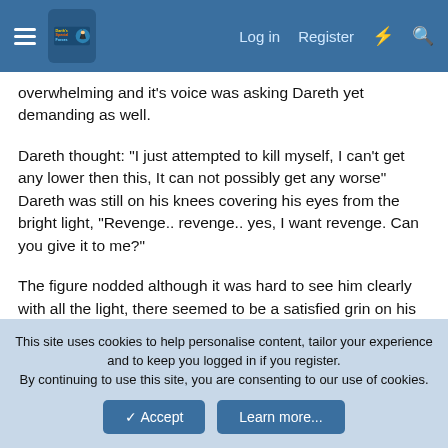Darth's Special Forces — Log in | Register
overwhelming and it's voice was asking Dareth yet demanding as well.
Dareth thought: "I just attempted to kill myself, I can't get any lower then this, It can not possibly get any worse" Dareth was still on his knees covering his eyes from the bright light, "Revenge.. revenge.. yes, I want revenge. Can you give it to me?"
The figure nodded although it was hard to see him clearly with all the light, there seemed to be a satisfied grin on his face. It made some gestures with his hands, and Dareth and the being disappeared with a flash.
Dareth...
This site uses cookies to help personalise content, tailor your experience and to keep you logged in if you register.
By continuing to use this site, you are consenting to our use of cookies.